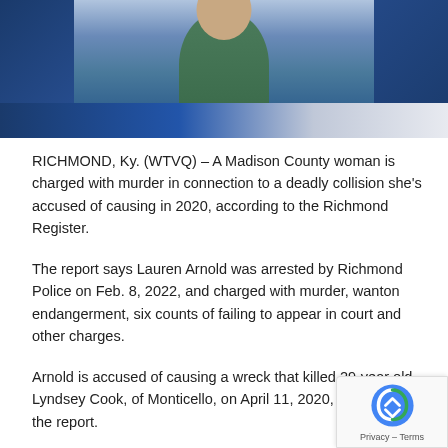[Figure (photo): News broadcast screenshot showing a person in a green sweater against a blue background with news graphic elements]
RICHMOND, Ky. (WTVQ) – A Madison County woman is charged with murder in connection to a deadly collision she's accused of causing in 2020, according to the Richmond Register.
The report says Lauren Arnold was arrested by Richmond Police on Feb. 8, 2022, and charged with murder, wanton endangerment, six counts of failing to appear in court and other charges.
Arnold is accused of causing a wreck that killed 29-year old Lyndsey Cook, of Monticello, on April 11, 2020, according to the report.